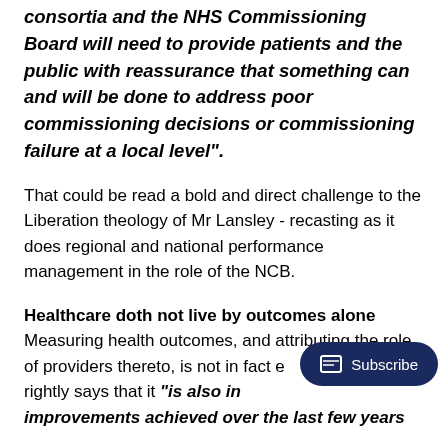consortia and the NHS Commissioning Board will need to provide patients and the public with reassurance that something can and will be done to address poor commissioning decisions or commissioning failure at a local level".
That could be read a bold and direct challenge to the Liberation theology of Mr Lansley - recasting as it does regional and national performance management in the role of the NCB.
Healthcare doth not live by outcomes alone
Measuring health outcomes, and attributing the role of providers thereto, is not in fact e... letter rightly says that it "is also in... improvements achieved over the last few years